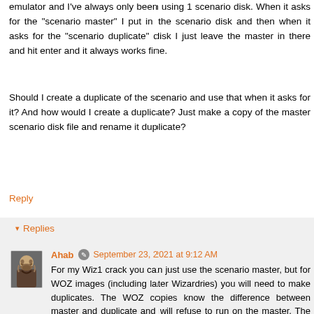emulator and I've always only been using 1 scenario disk. When it asks for the "scenario master" I put in the scenario disk and then when it asks for the "scenario duplicate" disk I just leave the master in there and hit enter and it always works fine.
Should I create a duplicate of the scenario and use that when it asks for it? And how would I create a duplicate? Just make a copy of the master scenario disk file and rename it duplicate?
Reply
Replies
Ahab  September 23, 2021 at 9:12 AM
For my Wiz1 crack you can just use the scenario master, but for WOZ images (including later Wizardries) you will need to make duplicates. The WOZ copies know the difference between master and duplicate and will refuse to run on the master. The purpose is to keep the master disk pristine (but it checks for the master first so that